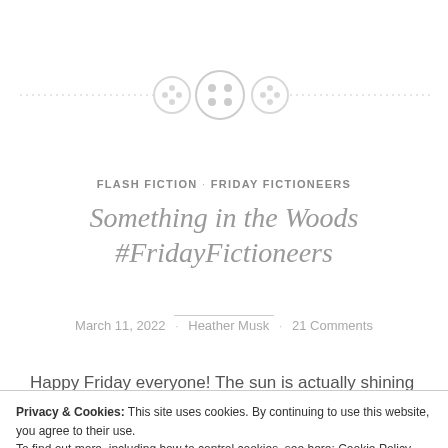[Figure (illustration): Decorative divider with three button icons and dotted horizontal lines on either side]
FLASH FICTION · FRIDAY FICTIONEERS
Something in the Woods #FridayFictioneers
March 11, 2022 · Heather Musk · 21 Comments
Happy Friday everyone! The sun is actually shining this
Privacy & Cookies: This site uses cookies. By continuing to use this website, you agree to their use.
To find out more, including how to control cookies, see here: Cookie Policy
Close and accept
hosting.